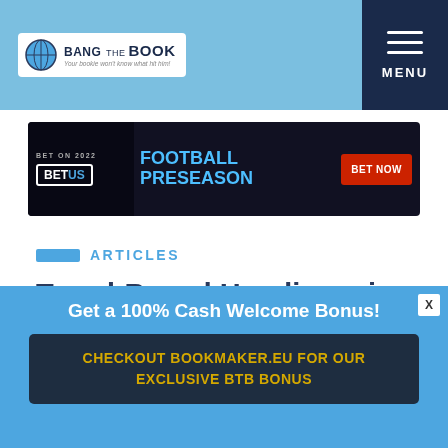Bang the Book — Your bookie won't know what hit him!
[Figure (screenshot): BetUS Football Preseason 2022 advertisement banner with BET NOW button]
ARTICLES
Trend-Based Handicapping
May 24th, 2017  By: Allen Moody
[Figure (infographic): Popup banner: Get a 100% Cash Welcome Bonus! CHECKOUT BOOKMAKER.EU FOR OUR EXCLUSIVE BTB BONUS]